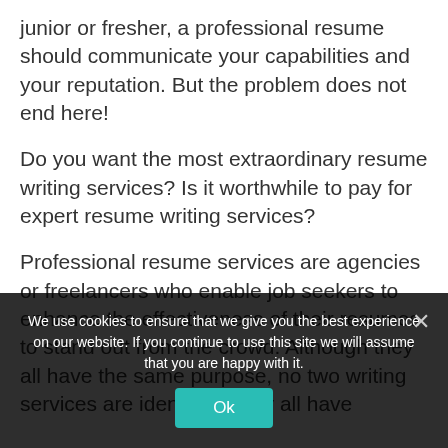junior or fresher, a professional resume should communicate your capabilities and your reputation. But the problem does not end here!
Do you want the most extraordinary resume writing services? Is it worthwhile to pay for expert resume writing services?
Professional resume services are agencies or freelancers who enable job seekers to enhance the effectiveness of their resumes to stand out from the crowd. Although they all have the same purpose, no two writing services are identical. They all have
We use cookies to ensure that we give you the best experience on our website. If you continue to use this site we will assume that you are happy with it.